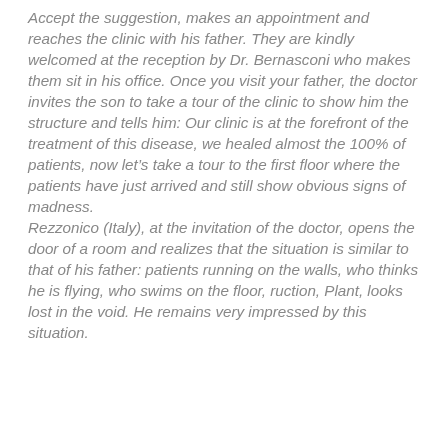Accept the suggestion, makes an appointment and reaches the clinic with his father. They are kindly welcomed at the reception by Dr. Bernasconi who makes them sit in his office. Once you visit your father, the doctor invites the son to take a tour of the clinic to show him the structure and tells him: Our clinic is at the forefront of the treatment of this disease, we healed almost the 100% of patients, now let’s take a tour to the first floor where the patients have just arrived and still show obvious signs of madness.
Rezzonico (Italy), at the invitation of the doctor, opens the door of a room and realizes that the situation is similar to that of his father: patients running on the walls, who thinks he is flying, who swims on the floor, ruction, Plant, looks lost in the void. He remains very impressed by this situation.